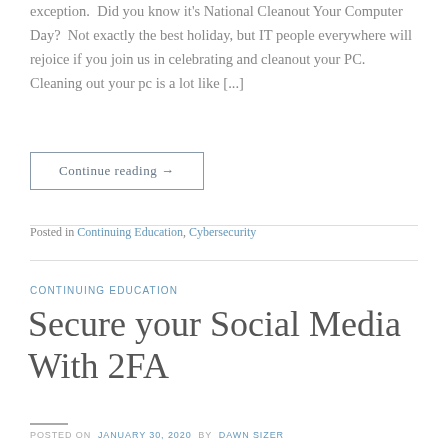exception.  Did you know it's National Cleanout Your Computer Day?  Not exactly the best holiday, but IT people everywhere will rejoice if you join us in celebrating and cleanout your PC. Cleaning out your pc is a lot like [...]
Continue reading →
Posted in Continuing Education, Cybersecurity
CONTINUING EDUCATION
Secure your Social Media With 2FA
POSTED ON  JANUARY 30, 2020  BY  DAWN SIZER